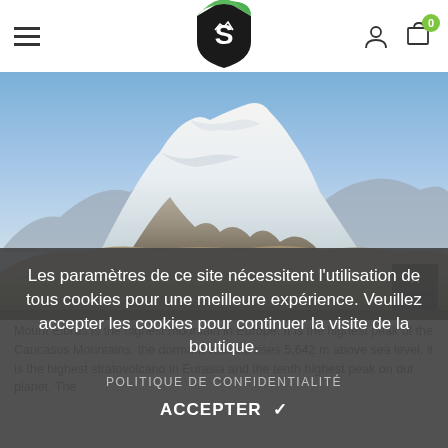Navigation header with hamburger menu, S logo, user icon, and cart (0)
[Figure (photo): Snow-capped mountain (Mount Elbrus) with blue sky, rocky slopes, and green foothills]
Les paramètres de ce site nécessitent l'utilisation de tous cookies pour une meilleure expérience. Veuillez accepter les cookies pour continuer la visite de la boutique.
POLITIQUE DE CONFIDENTIALITÉ
ACCEPTER ✓
Mount Elbrus is the highest mountain in Europe. It is the highest peak of the Caucasus Mountains. the dormant volcano rises 5,642 m above sea level. it is the highest stratovolcano in Eurasia and the tenth highest peak on our planet. The